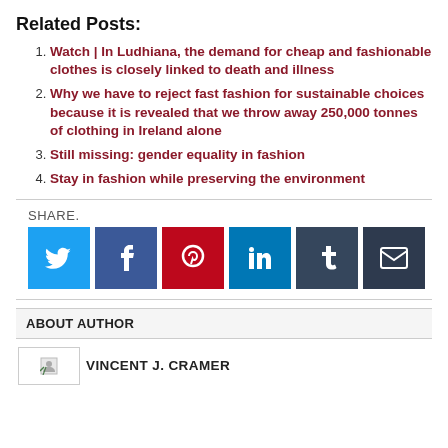Related Posts:
Watch | In Ludhiana, the demand for cheap and fashionable clothes is closely linked to death and illness
Why we have to reject fast fashion for sustainable choices because it is revealed that we throw away 250,000 tonnes of clothing in Ireland alone
Still missing: gender equality in fashion
Stay in fashion while preserving the environment
SHARE.
[Figure (infographic): Social sharing buttons: Twitter (blue), Facebook (dark blue), Pinterest (red), LinkedIn (blue), Tumblr (dark navy), Email (dark slate)]
ABOUT AUTHOR
VINCENT J. CRAMER